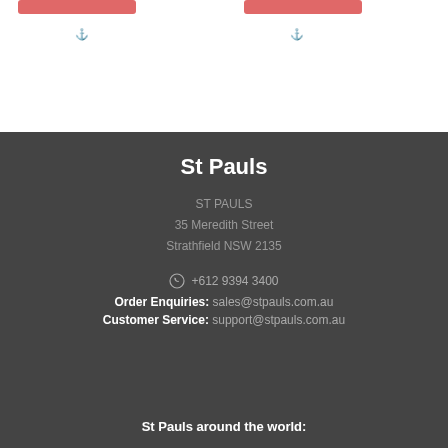[Figure (other): Top white section with two pink/red button elements and two small anchor/bookmark icons below them]
St Pauls
ST PAULS
35 Meredith Street
Strathfield NSW 2135
+612 9394 3400
Order Enquiries: sales@stpauls.com.au
Customer Service: support@stpauls.com.au
St Pauls around the world: